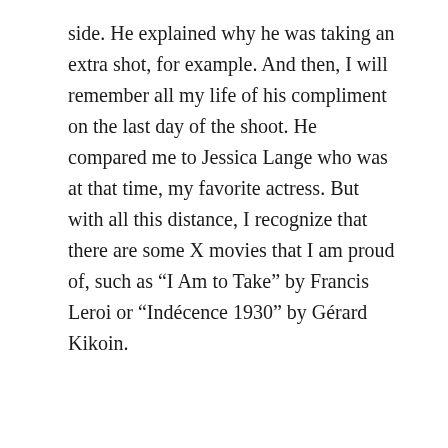side. He explained why he was taking an extra shot, for example. And then, I will remember all my life of his compliment on the last day of the shoot. He compared me to Jessica Lange who was at that time, my favorite actress. But with all this distance, I recognize that there are some X movies that I am proud of, such as “I Am to Take” by Francis Leroi or “Indécence 1930” by Gérard Kikoin.